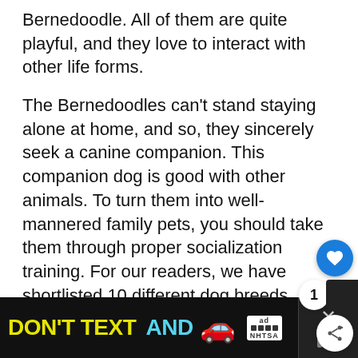Bernedoodle. All of them are quite playful, and they love to interact with other life forms.

The Bernedoodles can't stand staying alone at home, and so, they sincerely seek a canine companion. This companion dog is good with other animals. To turn them into well-mannered family pets, you should take them through proper socialization training. For our readers, we have shortlisted 10 different dog breeds which will be most compatible with your Bernedoodle.
[Figure (other): Advertisement banner: DON'T TEXT AND [car emoji] with ad badge and NHTSA logo, close button on right]